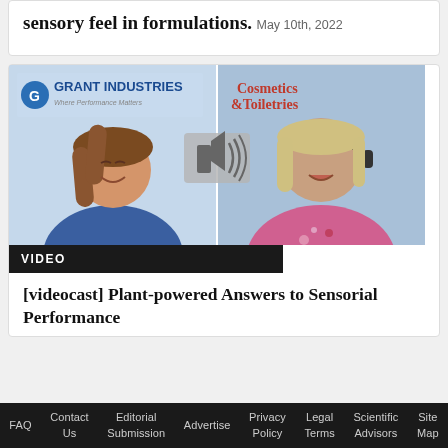sensory feel in formulations.
May 10th, 2022
[Figure (screenshot): Video thumbnail showing two people in a split-screen video call. Left side shows a woman with brown hair wearing a blue shirt under a Grant Industries logo and tagline 'Where Performance Matters'. Right side shows a woman wearing headphones and a floral top under a Cosmetics & Toiletries logo. A speaker/audio icon is overlaid in the center.]
VIDEO
[videocast] Plant-powered Answers to Sensorial Performance
FAQ   Contact Us   Editorial Submission   Advertise   Privacy Policy   Legal Terms   Scientific Advisors   Site Map